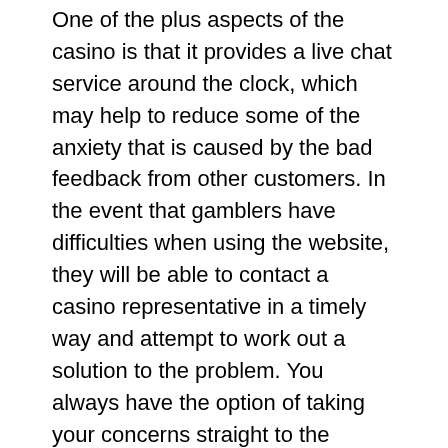One of the plus aspects of the casino is that it provides a live chat service around the clock, which may help to reduce some of the anxiety that is caused by the bad feedback from other customers. In the event that gamblers have difficulties when using the website, they will be able to contact a casino representative in a timely way and attempt to work out a solution to the problem. You always have the option of taking your concerns straight to the appropriate licensing body in the event that the casino support team is unable to assist you.
Popular Slots
Players at Monopoly Casino might be a little bit